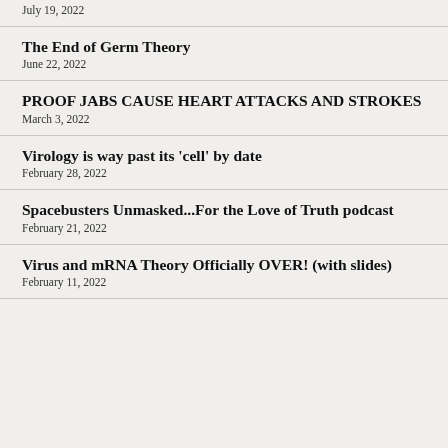July 19, 2022
The End of Germ Theory
June 22, 2022
PROOF JABS CAUSE HEART ATTACKS AND STROKES
March 3, 2022
Virology is way past its 'cell' by date
February 28, 2022
Spacebusters Unmasked...For the Love of Truth podcast
February 21, 2022
Virus and mRNA Theory Officially OVER! (with slides)
February 11, 2022